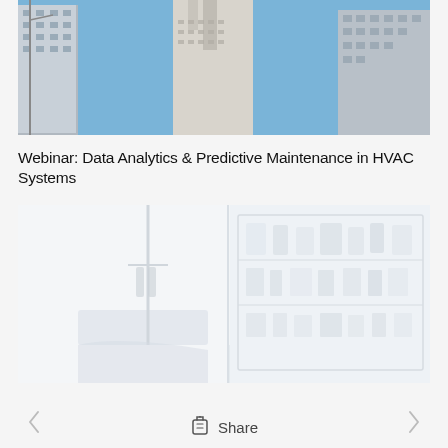[Figure (photo): Upward view of tall skyscrapers against a blue sky, black and white with blue tones]
Webinar: Data Analytics & Predictive Maintenance in HVAC Systems
[Figure (photo): Interior of a bright white medical or laboratory room with shelving and equipment]
< Share >